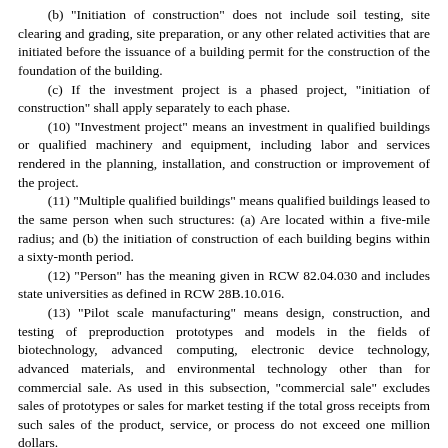(b) "Initiation of construction" does not include soil testing, site clearing and grading, site preparation, or any other related activities that are initiated before the issuance of a building permit for the construction of the foundation of the building.
(c) If the investment project is a phased project, "initiation of construction" shall apply separately to each phase.
(10) "Investment project" means an investment in qualified buildings or qualified machinery and equipment, including labor and services rendered in the planning, installation, and construction or improvement of the project.
(11) "Multiple qualified buildings" means qualified buildings leased to the same person when such structures: (a) Are located within a five-mile radius; and (b) the initiation of construction of each building begins within a sixty-month period.
(12) "Person" has the meaning given in RCW 82.04.030 and includes state universities as defined in RCW 28B.10.016.
(13) "Pilot scale manufacturing" means design, construction, and testing of preproduction prototypes and models in the fields of biotechnology, advanced computing, electronic device technology, advanced materials, and environmental technology other than for commercial sale. As used in this subsection, "commercial sale" excludes sales of prototypes or sales for market testing if the total gross receipts from such sales of the product, service, or process do not exceed one million dollars.
(14) "Qualified buildings" means construction of new